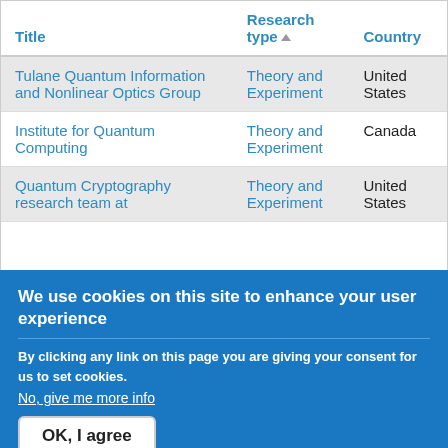| Title | Research type▲ | Country |
| --- | --- | --- |
| Tulane Quantum Information and Nonlinear Optics Group | Theory and Experiment | United States |
| Institute for Quantum Computing | Theory and Experiment | Canada |
| Quantum Cryptography research team at [partially visible] | Theory and Experiment | United States |
We use cookies on this site to enhance your user experience
By clicking any link on this page you are giving your consent for us to set cookies.
No, give me more info
OK, I agree